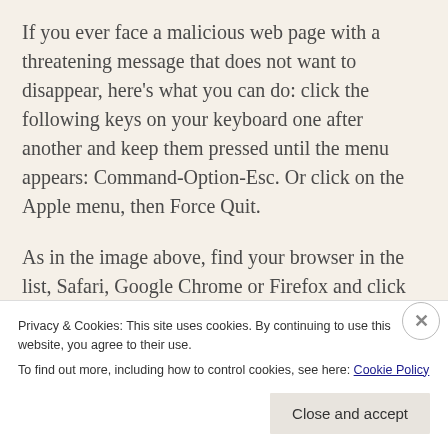If you ever face a malicious web page with a threatening message that does not want to disappear, here’s what you can do: click the following keys on your keyboard one after another and keep them pressed until the menu appears: Command-Option-Esc. Or click on the Apple menu, then Force Quit.
As in the image above, find your browser in the list, Safari, Google Chrome or Firefox and click on it once, then the “Force Quit” button. This same
Privacy & Cookies: This site uses cookies. By continuing to use this website, you agree to their use.
To find out more, including how to control cookies, see here: Cookie Policy